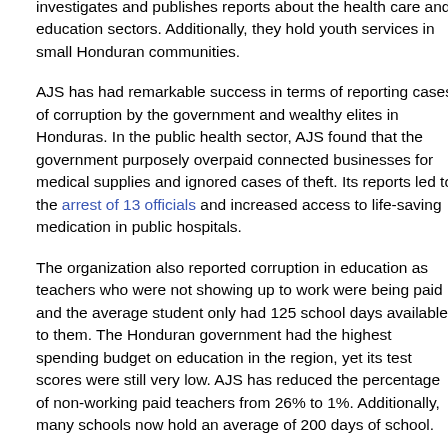investigates and publishes reports about the health care and education sectors. Additionally, they hold youth services in small Honduran communities.
AJS has had remarkable success in terms of reporting cases of corruption by the government and wealthy elites in Honduras. In the public health sector, AJS found that the government purposely overpaid connected businesses for medical supplies and ignored cases of theft. Its reports led to the arrest of 13 officials and increased access to life-saving medication in public hospitals.
The organization also reported corruption in education as teachers who were not showing up to work were being paid and the average student only had 125 school days available to them. The Honduran government had the highest spending budget on education in the region, yet its test scores were still very low. AJS has reduced the percentage of non-working paid teachers from 26% to 1%. Additionally, many schools now hold an average of 200 days of school.
Skate Brothers